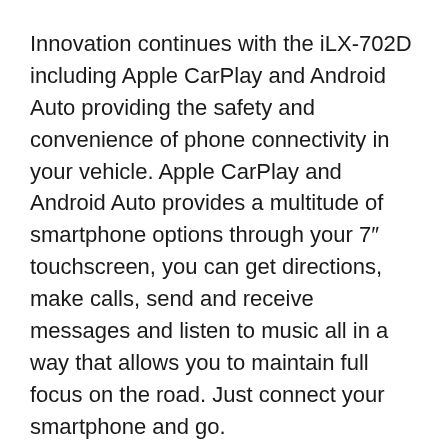Innovation continues with the iLX-702D including Apple CarPlay and Android Auto providing the safety and convenience of phone connectivity in your vehicle. Apple CarPlay and Android Auto provides a multitude of smartphone options through your 7″ touchscreen, you can get directions, make calls, send and receive messages and listen to music all in a way that allows you to maintain full focus on the road. Just connect your smartphone and go.
When using Apple CarPlay and Android Auto, users can control elements of their smartphone through the 7″ capacitive display or activate Siri and Voice Recognition for minimised distraction. Enjoy all your favourite audio with with a limitless